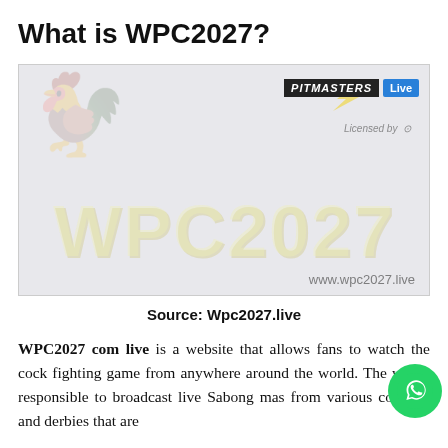What is WPC2027?
[Figure (photo): WPC2027 promotional banner/logo image showing a rooster silhouette on the left, the text 'WPC2027' in large stylized yellow letters, 'PITMASTERS Live' branding in the top right, 'Licensed by' with a globe icon, and the URL www.wpc2027.live at the bottom right. The image has a light gray/white washed-out appearance.]
Source: Wpc2027.live
WPC2027 com live is a website that allows fans to watch the cock fighting game from anywhere around the world. The webs s responsible to broadcast live Sabong ma s from various cockpits and derbies that are